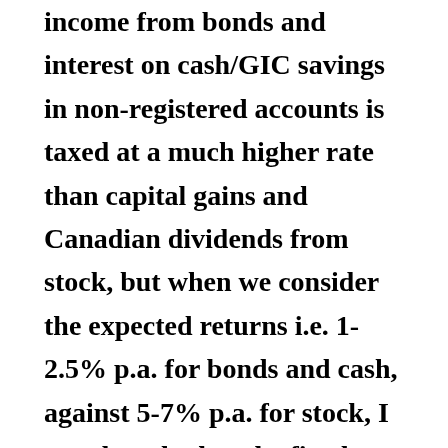income from bonds and interest on cash/GIC savings in non-registered accounts is taxed at a much higher rate than capital gains and Canadian dividends from stock, but when we consider the expected returns i.e. 1-2.5% p.a. for bonds and cash, against 5-7% p.a. for stock, I wonder whether the fixed income should be in the non-registered accounts, and the stocks in the tax sheltered accounts. Perhaps the Canadian dividend paying stocks should also be in non-registered accounts for low-taxed individuals. The $100,000 example in the article assumes the gains for the two asset classes are the same, and perhaps should be reworked with say, five and ten year investment periods and with reasonable expected returns to provide a more realistic